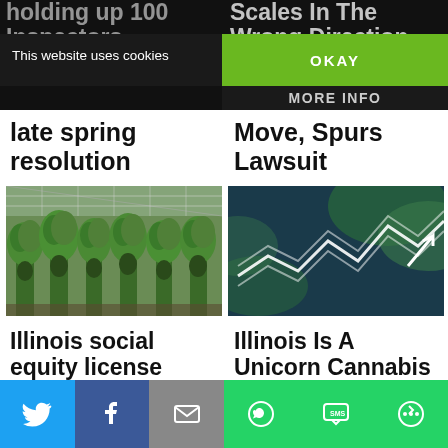holding up 100 Inspectors
Scales In The Wrong Direction Amid Social Equity
This website uses cookies
OKAY
MORE INFO
late spring resolution
Move, Spurs Lawsuit
[Figure (photo): Cannabis plants growing in a greenhouse with metal frame roof]
[Figure (photo): Cannabis leaves with overlaid financial chart lines, blue-tinted image]
Illinois social equity license lending program stalls - costing intended
Illinois Is A Unicorn Cannabis Market With Plenty Of Room To Grow
[Figure (infographic): Social media share bar with Twitter, Facebook, Email, WhatsApp, SMS, and More buttons]